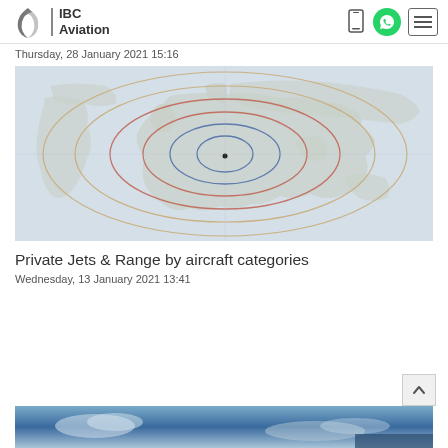IBC Aviation
Thursday, 28 January 2021 15:16
[Figure (map): World map showing concentric range circles centered over Europe/Mediterranean region, with multiple overlapping ellipses in blue, red, and tan colors representing aircraft range categories.]
Private Jets & Range by aircraft categories
Wednesday, 13 January 2021 13:41
[Figure (photo): Bottom strip of a photo showing aircraft or sky scene with blue tones.]